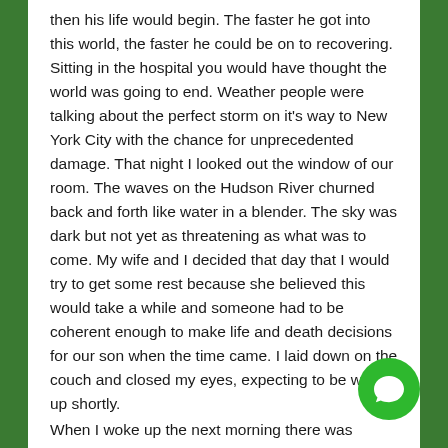then his life would begin. The faster he got into this world, the faster he could be on to recovering. Sitting in the hospital you would have thought the world was going to end. Weather people were talking about the perfect storm on it's way to New York City with the chance for unprecedented damage. That night I looked out the window of our room. The waves on the Hudson River churned back and forth like water in a blender. The sky was dark but not yet as threatening as what was to come. My wife and I decided that day that I would try to get some rest because she believed this would take a while and someone had to be coherent enough to make life and death decisions for our son when the time came. I laid down on the couch and closed my eyes, expecting to be woken up shortly.
When I woke up the next morning there was activity in the room. My wife was in bed with him. Th The...